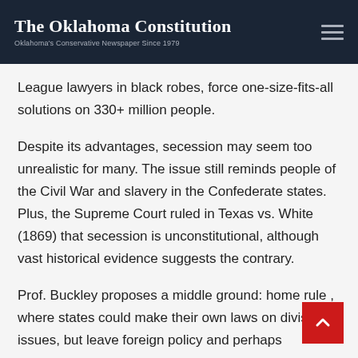The Oklahoma Constitution — Oklahoma's Conservative Newspaper Since 1979
League lawyers in black robes, force one-size-fits-all solutions on 330+ million people.
Despite its advantages, secession may seem too unrealistic for many. The issue still reminds people of the Civil War and slavery in the Confederate states. Plus, the Supreme Court ruled in Texas vs. White (1869) that secession is unconstitutional, although vast historical evidence suggests the contrary.
Prof. Buckley proposes a middle ground: home rule , where states could make their own laws on divisive issues, but leave foreign policy and perhaps interstate commerce to the feds. That's the Founders wanted, as the Constitution and the Bill of Rights